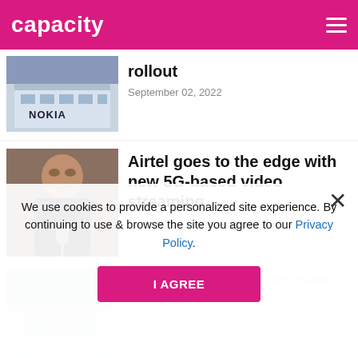capacity
rollout
September 02, 2022
[Figure (photo): Nokia building exterior with Nokia logo visible]
Airtel goes to the edge with new 5G-based video streaming
September 02, 2022
[Figure (photo): Man speaking at a microphone, dark shirt]
Airtel expands its global data centre region in
September 01, 2022
We use cookies to provide a personalized site experience. By continuing to use & browse the site you agree to our Privacy Policy.
I AGREE